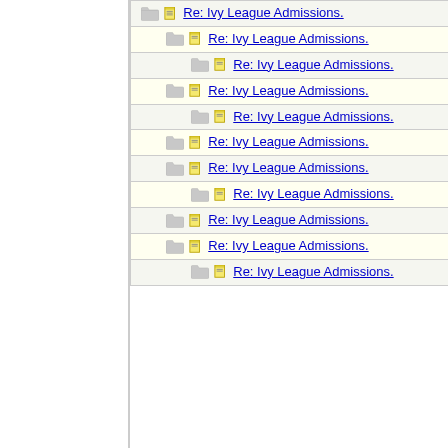| Topic | Author |
| --- | --- |
| Re: Ivy League Admissions. | Bostonia |
| Re: Ivy League Admissions. | Bostonia |
| Re: Ivy League Admissions. | indigo |
| Re: Ivy League Admissions. | Bostonia |
| Re: Ivy League Admissions. | indigo |
| Re: Ivy League Admissions. | Thomas |
| Re: Ivy League Admissions. | Bostonia |
| Re: Ivy League Admissions. | indigo |
| Re: Ivy League Admissions. | Bostonia |
| Re: Ivy League Admissions. | philly103 |
| Re: Ivy League Admissions. | indigo |